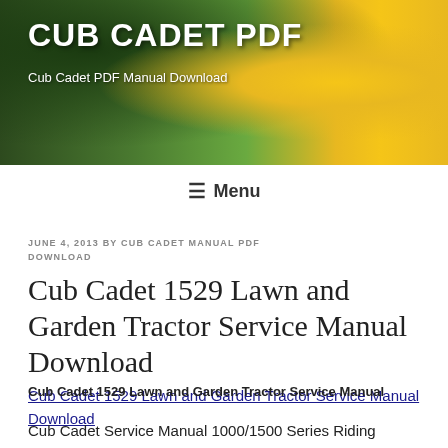[Figure (photo): Cub Cadet riding lawn tractor with person driving, yellow tractor body, green foliage background]
CUB CADET PDF
Cub Cadet PDF Manual Download
≡ Menu
JUNE 4, 2013 BY CUB CADET MANUAL PDF DOWNLOAD
Cub Cadet 1529 Lawn and Garden Tractor Service Manual Download
Cub Cadet 1529 Lawn and Garden Tractor Service Manual Download
Cub Cadet 1529 Lawn and Garden Tractor Service Manual
Cub Cadet Service Manual 1000/1500 Series Riding